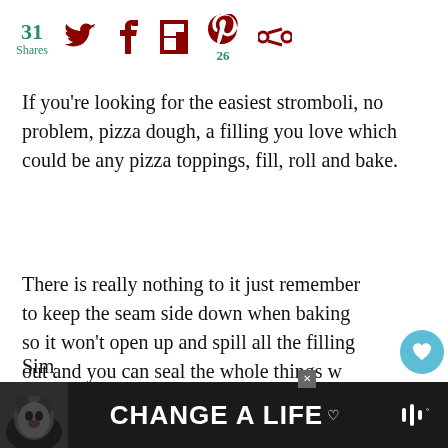31 Shares | Social share icons including Twitter, Facebook, Flipboard, Pinterest (26), and another icon
If you're looking for the easiest stromboli, no problem, pizza dough, a filling you love which could be any pizza toppings, fill, roll and bake.
There is really nothing to it just remember to keep the seam side down when baking so it won't open up and spill all the filling out and you can seal the whole things w little egg wash.
[Figure (infographic): WHAT'S NEXT banner with Cheddar Cheese Pie]
Sim
[Figure (infographic): CHANGE A LIFE advertisement banner with dog image]